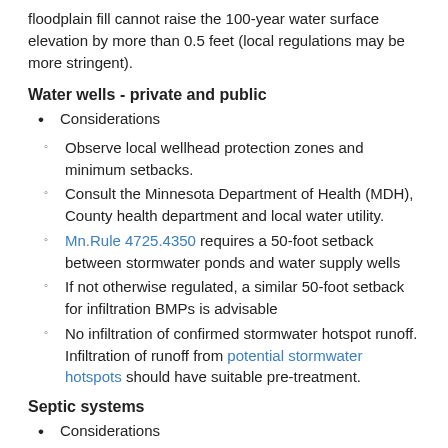floodplain fill cannot raise the 100-year water surface elevation by more than 0.5 feet (local regulations may be more stringent).
Water wells - private and public
Considerations
Observe local wellhead protection zones and minimum setbacks.
Consult the Minnesota Department of Health (MDH), County health department and local water utility.
Mn.Rule 4725.4350 requires a 50-foot setback between stormwater ponds and water supply wells
If not otherwise regulated, a similar 50-foot setback for infiltration BMPs is advisable
No infiltration of confirmed stormwater hotspot runoff. Infiltration of runoff from potential stormwater hotspots should have suitable pre-treatment.
Septic systems
Considerations
Recommended setback is 35 feet minimum from a drain field.
Consult the MDH and County health department.